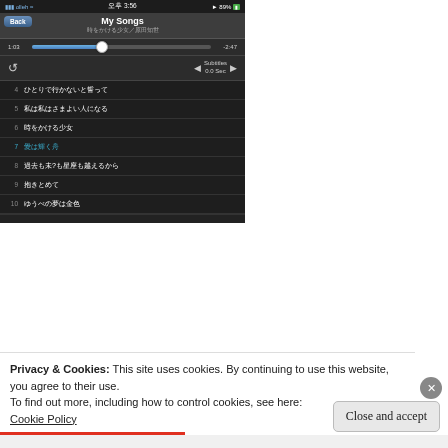[Figure (screenshot): iPhone music player app screenshot showing 'My Songs' playlist with Japanese song titles. Status bar shows 'olleh' carrier, 3:56 PM, 89% battery. Currently playing track 7 '愛は輝く舟' from '時をかける少女／原田知世'. Progress bar shows 1:03 elapsed, -2:47 remaining. Song list shows tracks 4-10 in Japanese.]
Privacy & Cookies: This site uses cookies. By continuing to use this website, you agree to their use.
To find out more, including how to control cookies, see here:
Cookie Policy
Close and accept